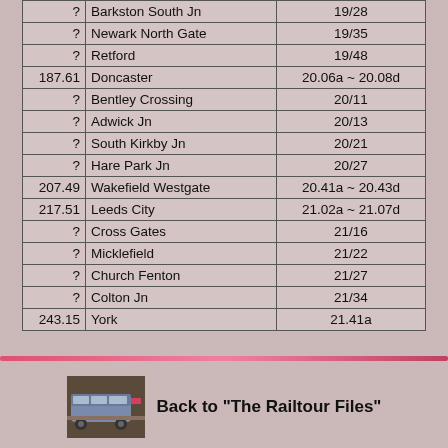|  | Station | Time |
| --- | --- | --- |
| ? | Barkston South Jn | 19/28 |
| ? | Newark North Gate | 19/35 |
| ? | Retford | 19/48 |
| 187.61 | Doncaster | 20.06a ~ 20.08d |
| ? | Bentley Crossing | 20/11 |
| ? | Adwick Jn | 20/13 |
| ? | South Kirkby Jn | 20/21 |
| ? | Hare Park Jn | 20/27 |
| 207.49 | Wakefield Westgate | 20.41a ~ 20.43d |
| 217.51 | Leeds City | 21.02a ~ 21.07d |
| ? | Cross Gates | 21/16 |
| ? | Micklefield | 21/22 |
| ? | Church Fenton | 21/27 |
| ? | Colton Jn | 21/34 |
| 243.15 | York | 21.41a |
[Figure (photo): Small photo of a diesel locomotive train]
Back to "The Railtour Files"